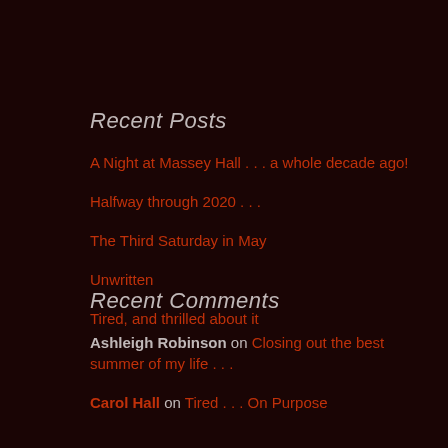Recent Posts
A Night at Massey Hall . . . a whole decade ago!
Halfway through 2020 . . .
The Third Saturday in May
Unwritten
Tired, and thrilled about it
Recent Comments
Ashleigh Robinson on Closing out the best summer of my life . . .
Carol Hall on Tired . . . On Purpose